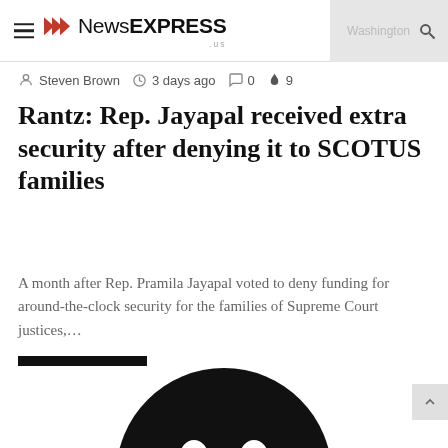NewsEXPRESS
Steven Brown  3 days ago  0  9
Rantz: Rep. Jayapal received extra security after denying it to SCOTUS families
A month after Rep. Pramila Jayapal voted to deny funding for around-the-clock security for the families of Supreme Court justices,…
Read More »
[Figure (photo): Partial circular dark image at the bottom of the page, likely a person's photo cropped at the top of their head]